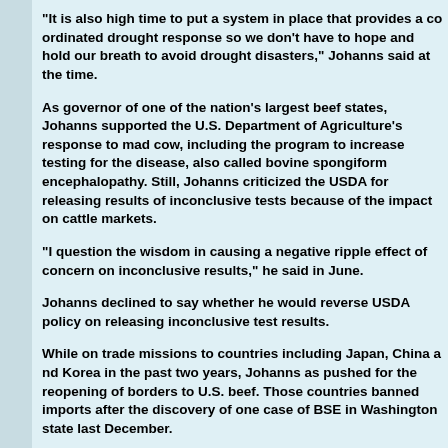"It is also high time to put a system in place that provides a coordinated drought response so we don't have to hope and hold our breath to avoid drought disasters," Johanns said at the time.
As governor of one of the nation's largest beef states, Johanns supported the U.S. Department of Agriculture's response to mad cow, including the program to increase testing for the disease, also called bovine spongiform encephalopathy. Still, Johanns criticized the USDA for releasing results of inconclusive tests because of the impact on cattle markets.
"I question the wisdom in causing a negative ripple effect of concern on inconclusive results," he said in June.
Johanns declined to say whether he would reverse USDA policy on releasing inconclusive test results.
While on trade missions to countries including Japan, China and Korea in the past two years, Johanns as pushed for the reopening of borders to U.S. beef. Those countries banned imports after the discovery of one case of BSE in Washington state last December.
While the bans remain largely in place, trade negotiators continue to make headway, particularly in the key Japanese market.
Bob Dickey, a prominent grain farmer near Laurel, Neb., and